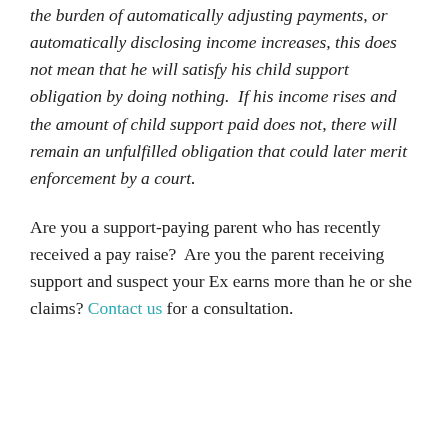the burden of automatically adjusting payments, or automatically disclosing income increases, this does not mean that he will satisfy his child support obligation by doing nothing.  If his income rises and the amount of child support paid does not, there will remain an unfulfilled obligation that could later merit enforcement by a court.
Are you a support-paying parent who has recently received a pay raise?  Are you the parent receiving support and suspect your Ex earns more than he or she claims? Contact us for a consultation.